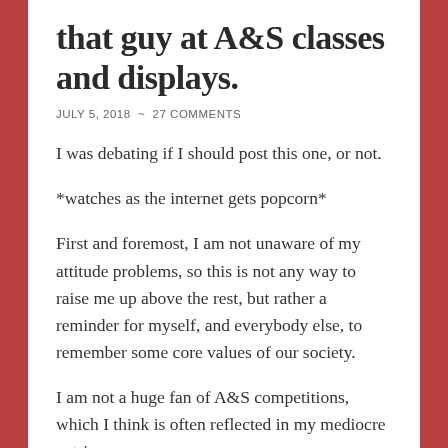that guy at A&S classes and displays.
JULY 5, 2018  ~  27 COMMENTS
I was debating if I should post this one, or not.
*watches as the internet gets popcorn*
First and foremost, I am not unaware of my attitude problems, so this is not any way to raise me up above the rest, but rather a reminder for myself, and everybody else, to remember some core values of our society.
I am not a huge fan of A&S competitions, which I think is often reflected in my mediocre entries.